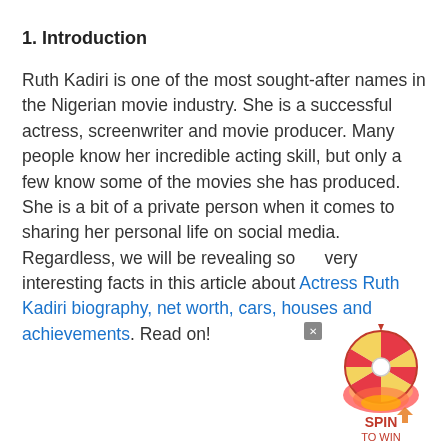1. Introduction
Ruth Kadiri is one of the most sought-after names in the Nigerian movie industry. She is a successful actress, screenwriter and movie producer. Many people know her incredible acting skill, but only a few know some of the movies she has produced. She is a bit of a private person when it comes to sharing her personal life on social media. Regardless, we will be revealing some very interesting facts in this article about Actress Ruth Kadiri biography, net worth, cars, houses and achievements. Read on!
[Figure (other): Spin to Win promotional widget with a spinning wheel graphic, flame effects, and the text SPIN TO WIN]